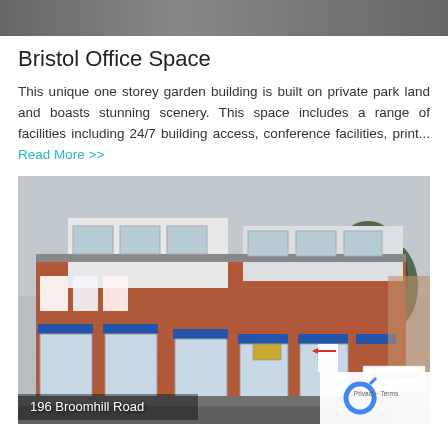[Figure (photo): Dark grey header image strip at the top of the page]
Bristol Office Space
This unique one storey garden building is built on private park land and boasts stunning scenery. This space includes a range of facilities including 24/7 building access, conference facilities, print... Read More >>
[Figure (photo): Exterior photo of a two-storey red brick office building at 196 Broomhill Road, with blue awnings over ground floor windows and various signs posted in the windows. A reCAPTCHA badge is visible in the bottom right corner.]